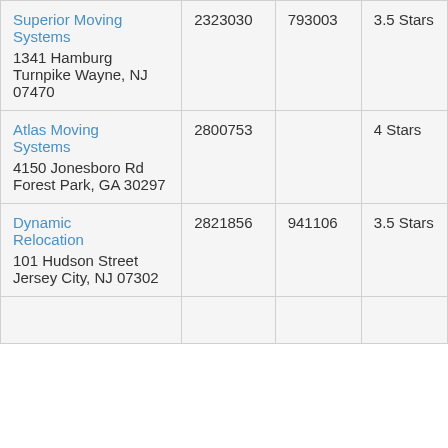| Superior Moving Systems
1341 Hamburg Turnpike Wayne, NJ 07470 | 2323030 | 793003 | 3.5 Stars |
| Atlas Moving Systems
4150 Jonesboro Rd Forest Park, GA 30297 | 2800753 |  | 4 Stars |
| Dynamic Relocation
101 Hudson Street Jersey City, NJ 07302 | 2821856 | 941106 | 3.5 Stars |
| ... | ... | ... | ... |